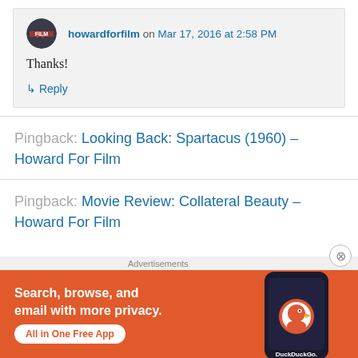howardforfilm on Mar 17, 2016 at 2:58 PM
Thanks!
↳ Reply
Pingback: Looking Back: Spartacus (1960) – Howard For Film
Pingback: Movie Review: Collateral Beauty – Howard For Film
[Figure (screenshot): DuckDuckGo advertisement banner: orange background with white bold text 'Search, browse, and email with more privacy.' and a white pill button 'All in One Free App', with a phone showing the DuckDuckGo app on the right side.]